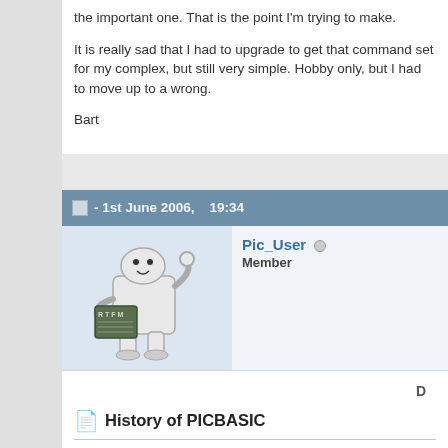the important one. That is the point I'm trying to make.
It is really sad that I had to upgrade to get that command set for my complex, but still very simple. Hobby only, but I had to move up to a wrong.
Bart
- 1st June 2006,   19:34
[Figure (illustration): Cartoon character holding a book labeled RTFM, raising one hand in an OK gesture]
Pic_User  Member
D
History of PICBASIC
Hi, Just trying to help out.
History is sometimes a good lesson.